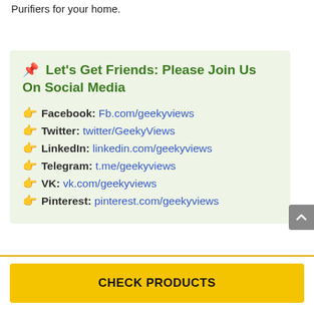Purifiers for your home.
📌 Let's Get Friends: Please Join Us On Social Media
👉 Facebook: Fb.com/geekyviews
👉 Twitter: twitter/GeekyViews
👉 LinkedIn: linkedin.com/geekyviews
👉 Telegram: t.me/geekyviews
👉 VK: vk.com/geekyviews
👉 Pinterest: pinterest.com/geekyviews
CHECK PRODUCTS